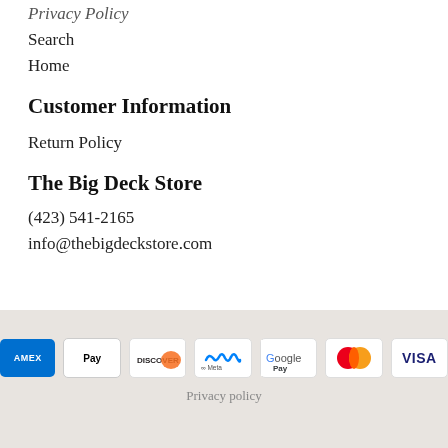Privacy Policy
Search
Home
Customer Information
Return Policy
The Big Deck Store
(423) 541-2165
info@thebigdeckstore.com
[Figure (other): Payment method icons: American Express, Apple Pay, Discover, Meta Pay, Google Pay, Mastercard, Visa]
Privacy policy